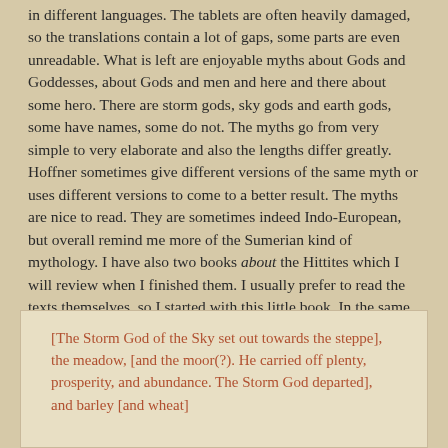in different languages. The tablets are often heavily damaged, so the translations contain a lot of gaps, some parts are even unreadable. What is left are enjoyable myths about Gods and Goddesses, about Gods and men and here and there about some hero. There are storm gods, sky gods and earth gods, some have names, some do not. The myths go from very simple to very elaborate and also the lengths differ greatly. Hoffner sometimes give different versions of the same myth or uses different versions to come to a better result. The myths are nice to read. They are sometimes indeed Indo-European, but overall remind me more of the Sumerian kind of mythology. I have also two books about the Hittites which I will review when I finished them. I usually prefer to read the texts themselves, so I started with this little book. In the same series there are other kinds of Hittite texts available.
[The Storm God of the Sky set out towards the steppe], the meadow, [and the moor(?). He carried off plenty, prosperity, and abundance. The Storm God departed], and barley [and wheat]